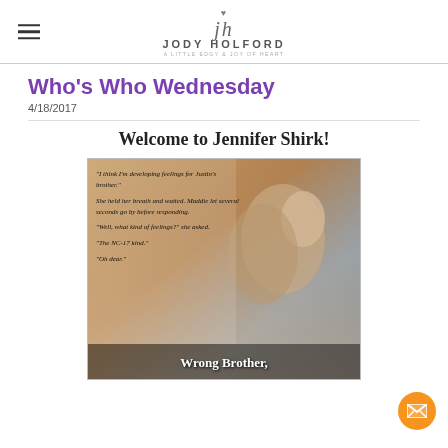Jody Holford
Who's Who Wednesday
4/18/2017
Welcome to Jennifer Shirk!
[Figure (photo): Book cover image for 'Wrong Brother,' featuring a couple (woman with long hair smiling, man behind her) with overlaid quote text: "I think I'm developing feelings for Justin's brother. She held her breath and waited. Maddie let several seconds go by before responding. 'Well, what kind of feelings?' she asked. 'The NC-17 kind.' 'Oh dear.'" and title 'Wrong Brother,' at the bottom.]